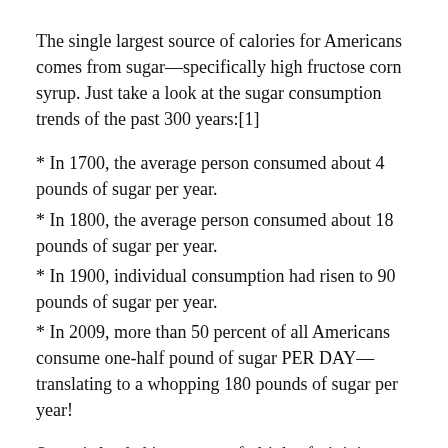The single largest source of calories for Americans comes from sugar—specifically high fructose corn syrup. Just take a look at the sugar consumption trends of the past 300 years:[1]
* In 1700, the average person consumed about 4 pounds of sugar per year.
* In 1800, the average person consumed about 18 pounds of sugar per year.
* In 1900, individual consumption had risen to 90 pounds of sugar per year.
* In 2009, more than 50 percent of all Americans consume one-half pound of sugar PER DAY—translating to a whopping 180 pounds of sugar per year!
Sugar is loaded into your soft drinks, fruit juices, sports drinks, and hidden in almost all processed foods—from